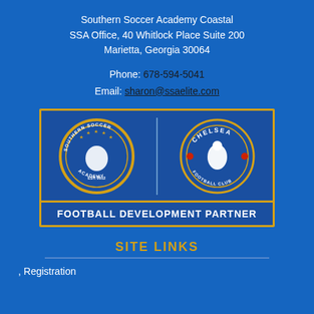Southern Soccer Academy Coastal
SSA Office, 40 Whitlock Place Suite 200
Marietta, Georgia 30064
Phone: 678-594-5041
Email: sharon@ssaelite.com
[Figure (logo): Southern Soccer Academy and Chelsea Football Club logos side by side with text FOOTBALL DEVELOPMENT PARTNER below]
SITE LINKS
, Registration